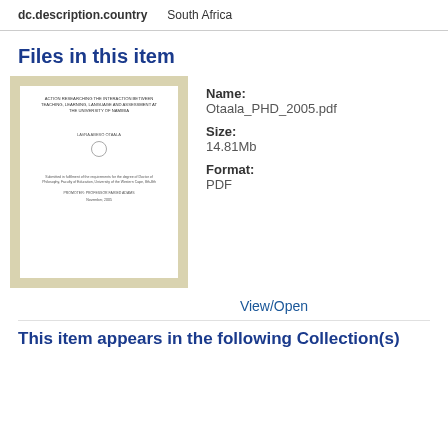| dc.description.country |  |
| --- | --- |
| dc.description.country | South Africa |
Files in this item
[Figure (other): Thumbnail of a PDF document cover page titled ACTION RESEARCHING THE INTERACTION BETWEEN TEACHING, LEARNING, LANGUAGE AND ASSESSMENT AT THE UNIVERSITY OF NAMIBIA by LAVRA ABESO OTAALA]
Name: Otaala_PHD_2005.pdf
Size: 14.81Mb
Format: PDF
View/Open
This item appears in the following Collection(s)